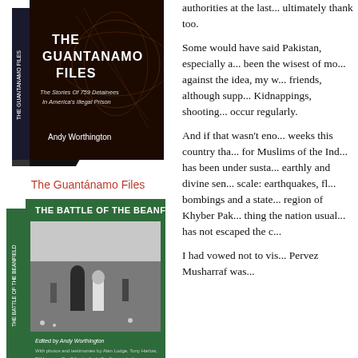[Figure (photo): Book cover image of 'The Guantánamo Files: The Stories Of 759 Detainees In America's Illegal Prison' by Andy Worthington, shown as a 3D book with dark cover]
The Guantánamo Files
[Figure (photo): Book cover image of 'The Battle of the Beanfield' edited by Andy Worthington, showing a black and white photograph of a police officer and a woman in a field]
The Battle of the Beanfield
authorities at the last... ultimately thank too.
Some would have said Pakistan, especially a... been the wisest of mo... against the idea, my w... friends, although supp... Kidnappings, shooting... occur regularly.
And if that wasn't eno... weeks this country tha... for Muslims of the Ind... has been under susta... earthly and divine sen... scale: earthquakes, fl... bombings and a state... region of Khyber Pak... thing the nation usual... has not escaped the c...
I had vowed not to vis... Pervez Musharraf was...